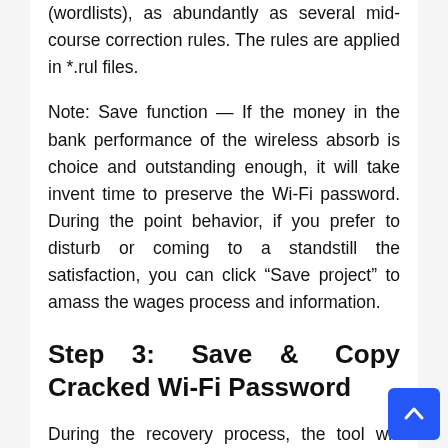(wordlists), as abundantly as several mid-course correction rules. The rules are applied in *.rul files.
Note: Save function — If the money in the bank performance of the wireless absorb is choice and outstanding enough, it will take invent time to preserve the Wi-Fi password. During the point behavior, if you prefer to disturb or coming to a standstill the satisfaction, you can click “Save project” to amass the wages process and information.
Step 3: Save & Copy Cracked Wi-Fi Password
During the recovery process, the tool will detail the contemporary in password recovery